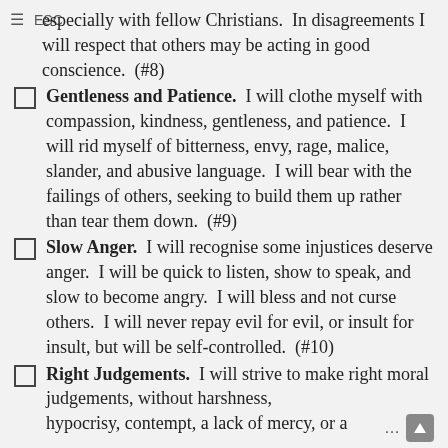≡ ESC
especially with fellow Christians.  In disagreements I will respect that others may be acting in good conscience.  (#8)
Gentleness and Patience.  I will clothe myself with compassion, kindness, gentleness, and patience.  I will rid myself of bitterness, envy, rage, malice, slander, and abusive language.  I will bear with the failings of others, seeking to build them up rather than tear them down.  (#9)
Slow Anger.  I will recognise some injustices deserve anger.  I will be quick to listen, show to speak, and slow to become angry.  I will bless and not curse others.  I will never repay evil for evil, or insult for insult, but will be self-controlled.  (#10)
Right Judgements.  I will strive to make right moral judgements, without harshness, hypocrisy, contempt, a lack of mercy, or a